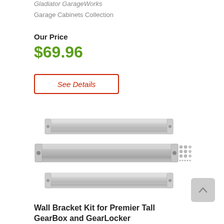Gladiator GarageWorks
Garage Cabinets Collection
Our Price
$69.96
See Details
[Figure (photo): Three silver metal wall bracket rails stacked horizontally with mounting hardware including screws shown to the right of the middle rail]
Wall Bracket Kit for Premier Tall GearBox and GearLocker